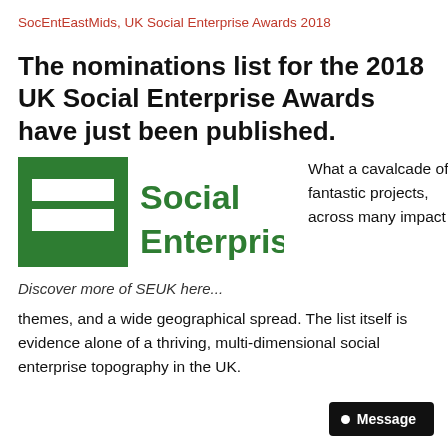SocEntEastMids, UK Social Enterprise Awards 2018
The nominations list for the 2018 UK Social Enterprise Awards have just been published.
[Figure (logo): Social Enterprise UK logo: green square icon with two horizontal white bars, next to green text reading 'Social Enterprise UK']
Discover more of SEUK here...
What a cavalcade of fantastic projects, across many impact themes, and a wide geographical spread. The list itself is evidence alone of a thriving, multi-dimensional social enterprise topography in the UK.